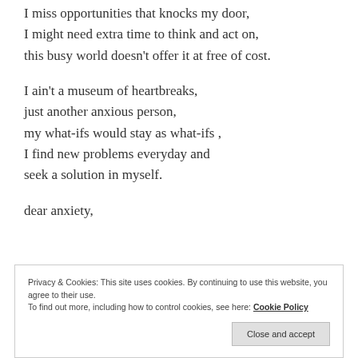I miss opportunities that knocks my door,
I might need extra time to think and act on,
this busy world doesn't offer it at free of cost.
I ain't a museum of heartbreaks,
just another anxious person,
my what-ifs would stay as what-ifs ,
I find new problems everyday and
seek a solution in myself.
dear anxiety,
Privacy & Cookies: This site uses cookies. By continuing to use this website, you agree to their use.
To find out more, including how to control cookies, see here: Cookie Policy
Close and accept